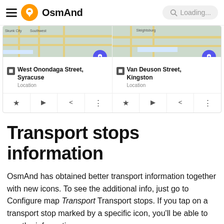OsmAnd  Loading...
[Figure (screenshot): Two map location cards showing West Onondaga Street, Syracuse and Van Deuson Street, Kingston, each with a map thumbnail, navigation button, location icon, street name, 'Location' label, and action buttons (star, play, share, more).]
Transport stops information
OsmAnd has obtained better transport information together with new icons. To see the additional info, just go to Configure map Transport Transport stops. If you tap on a transport stop marked by a specific icon, you'll be able to see the information